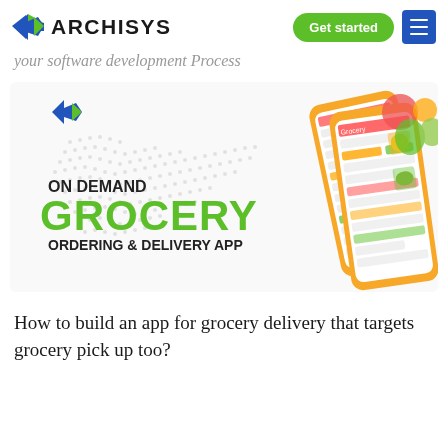ARCHISYS — Get started
your software development Process
[Figure (illustration): On Demand Grocery Ordering & Delivery App promotional banner with world map background, Archisys logo, green GROCERY text, and smartphone mockups showing a grocery app interface with orange background]
How to build an app for grocery delivery that targets grocery pick up too?